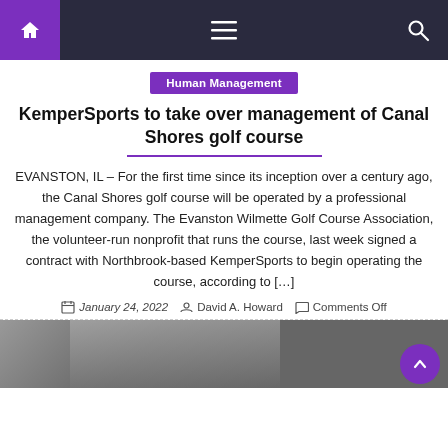Navigation bar with home, menu, and search icons
Human Management
KemperSports to take over management of Canal Shores golf course
EVANSTON, IL – For the first time since its inception over a century ago, the Canal Shores golf course will be operated by a professional management company. The Evanston Wilmette Golf Course Association, the volunteer-run nonprofit that runs the course, last week signed a contract with Northbrook-based KemperSports to begin operating the course, according to […]
January 24, 2022  David A. Howard  Comments Off
[Figure (photo): Partial photo visible at the bottom of the page, appears to be a blurred/dark image]